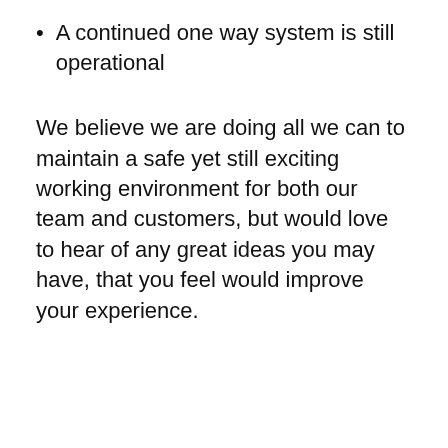A continued one way system is still operational
We believe we are doing all we can to maintain a safe yet still exciting working environment for both our team and customers, but would love to hear of any great ideas you may have, that you feel would improve your experience.